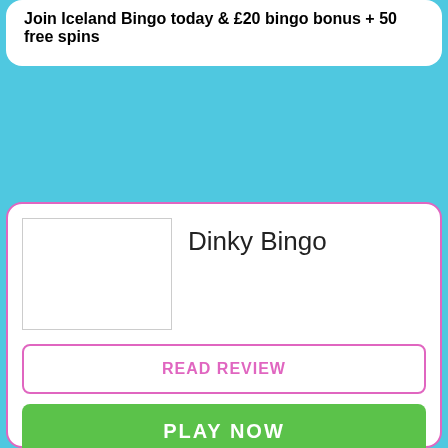Join Iceland Bingo today & £20 bingo bonus + 50 free spins
Dinky Bingo
READ REVIEW
PLAY NOW
Terms Apply
Get £10 Bingo Bonus, 5 Free Bingo Tickets & 20 Free Spins Promo Code: DINKY